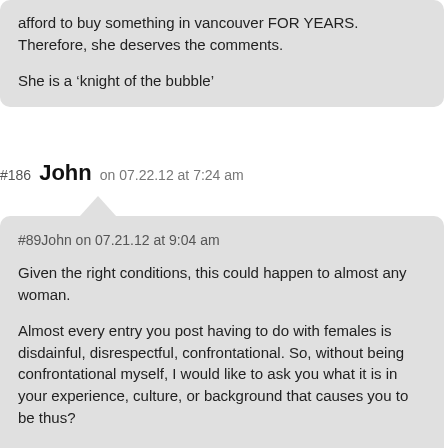afford to buy something in vancouver FOR YEARS. Therefore, she deserves the comments.

She is a ‘knight of the bubble’
#186 John on 07.22.12 at 7:24 am
#89John on 07.21.12 at 9:04 am

Given the right conditions, this could happen to almost any woman.

Almost every entry you post having to do with females is disdainful, disrespectful, confrontational. So, without being confrontational myself, I would like to ask you what it is in your experience, culture, or background that causes you to be thus?

I genuinely want to know, out of interest in the human condition. Though I am never likely to agree with your assessment of the majority of the human species, it is useful to know why some people think the way they do.

I hope you will reply